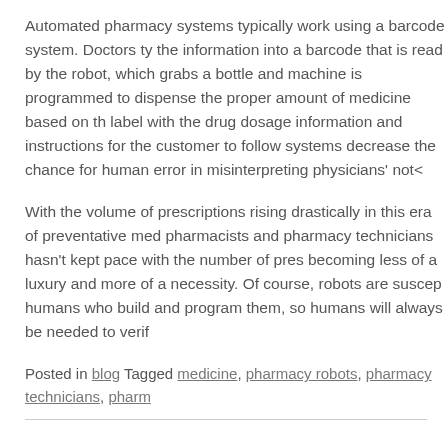Automated pharmacy systems typically work using a barcode system. Doctors ty the information into a barcode that is read by the robot, which grabs a bottle and machine is programmed to dispense the proper amount of medicine based on th label with the drug dosage information and instructions for the customer to follo systems decrease the chance for human error in misinterpreting physicians' not
With the volume of prescriptions rising drastically in this era of preventative med pharmacists and pharmacy technicians hasn't kept pace with the number of pres becoming less of a luxury and more of a necessity. Of course, robots are suscep humans who build and program them, so humans will always be needed to verif
Posted in blog Tagged medicine, pharmacy robots, pharmacy technicians, pharm